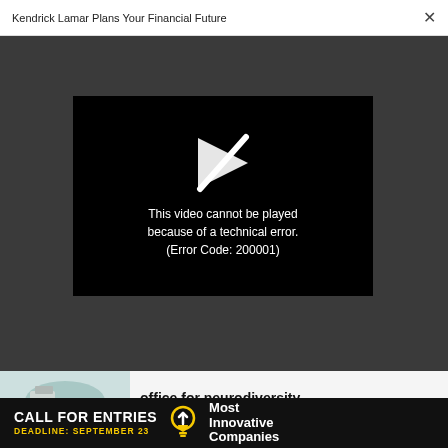Kendrick Lamar Plans Your Financial Future
[Figure (screenshot): Video player error: black rectangle with a broken play button icon and text 'This video cannot be played because of a technical error. (Error Code: 200001)']
office for neurodiversity
IDEAS
How the Inflation Reduction Act will supercharge climate tech startups
[Figure (illustration): Advertisement banner: CALL FOR ENTRIES DEADLINE: SEPTEMBER 23, Most Innovative Companies with lightbulb icon]